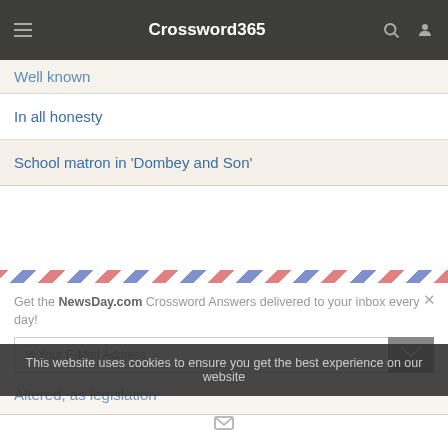Crossword365
Well known
In all honesty
School matron in 'Dombey and Son'
[Figure (screenshot): Airmail-style newsletter signup popup with red and blue diagonal stripe border, text reading 'Get the NewsDay.com Crossword Answers delivered to your inbox every day!' with email input and submit button]
Farm measures
Altered, as legislation
This website uses cookies to ensure you get the best experience on our website